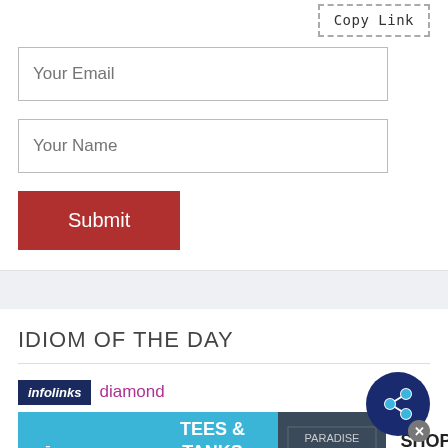Copy Link
Your Email
Your Name
Submit
IDIOM OF THE DAY
[Figure (screenshot): Infolinks ad bar with 'diamond' text and Aeropostale banner ad showing 'TEES & TANKS $6.87 & UP SHOP NOW' with share bubble overlay]
diamond